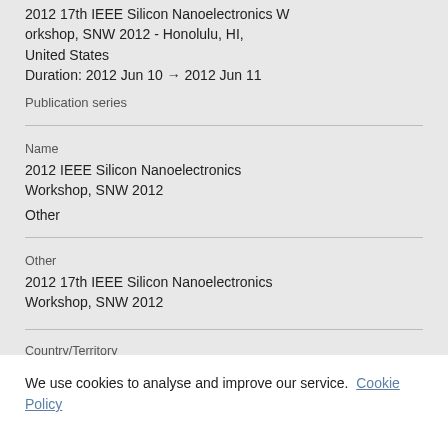2012 17th IEEE Silicon Nanoelectronics Workshop, SNW 2012 - Honolulu, HI, United States
Duration: 2012 Jun 10 → 2012 Jun 11
Publication series
Name
2012 IEEE Silicon Nanoelectronics Workshop, SNW 2012
Other
Other
2012 17th IEEE Silicon Nanoelectronics Workshop, SNW 2012
Country/Territory
We use cookies to analyse and improve our service. Cookie Policy